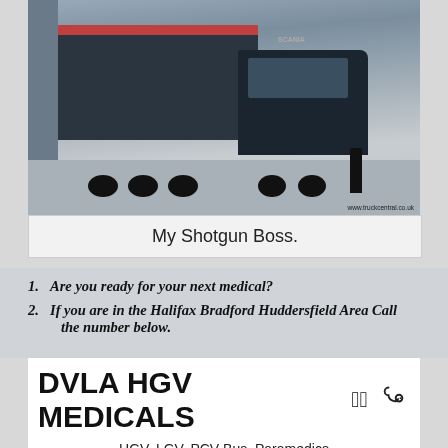[Figure (photo): Black and white/vintage photo of a large Scania HGV articulated truck with trailer parked at a loading bay, with a person standing beside it. Watermark reads www.truckcentral.co.uk]
My Shotgun Boss.
Are you ready for your next medical?
If you are in the Halifax Bradford Huddersfield Area Call the number below.
[Figure (other): DVLA HGV Medicals advertisement showing title 'DVLA HGV MEDICALS' with stethoscope icon, listing HGV, LGV, PCV Bus, Paramedics, Motorhome Class 2 C1 D4 & Taxi Medicals, with a partial phone number visible at bottom.]